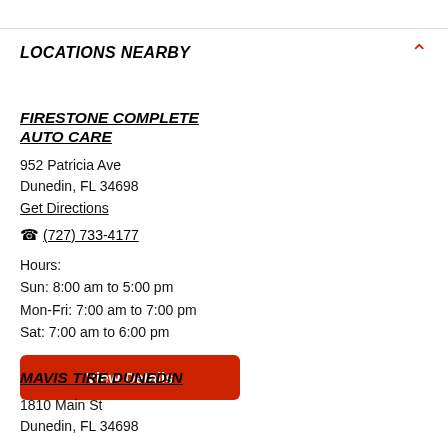LOCATIONS NEARBY
FIRESTONE COMPLETE AUTO CARE
952 Patricia Ave
Dunedin, FL 34698
Get Directions
(727) 733-4177
Hours:
Sun: 8:00 am to 5:00 pm
Mon-Fri: 7:00 am to 7:00 pm
Sat: 7:00 am to 6:00 pm
View Details
MAVIS TIRE DUNEDIN
1810 Main St
Dunedin, FL 34698